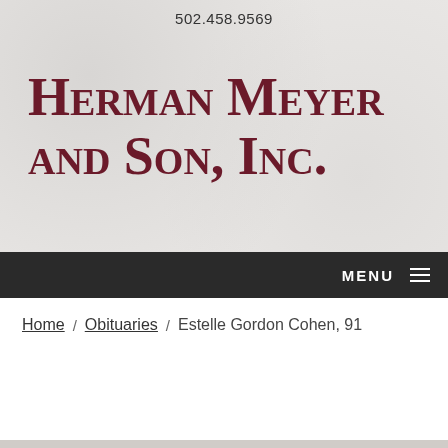502.458.9569
Herman Meyer and Son, Inc.
MENU
Home / Obituaries / Estelle Gordon Cohen, 91
[Figure (photo): Bottom portion of the page showing a partial photograph, watermark background, and reCAPTCHA badge in the lower right.]